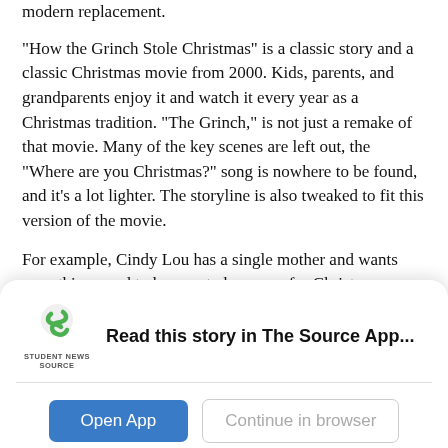modern replacement.
“How the Grinch Stole Christmas” is a classic story and a classic Christmas movie from 2000. Kids, parents, and grandparents enjoy it and watch it every year as a Christmas tradition. “The Grinch,” is not just a remake of that movie. Many of the key scenes are left out, the “Where are you Christmas?” song is nowhere to be found, and it’s a lot lighter. The storyline is also tweaked to fit this version of the movie.
For example, Cindy Lou has a single mother and wants something good to happen to her mom for Christmas.
[Figure (logo): Student News Source app logo - green stylized S icon with 'STUDENT NEWS SOURCE' text below]
Read this story in The Source App...
Open App
Continue in browser